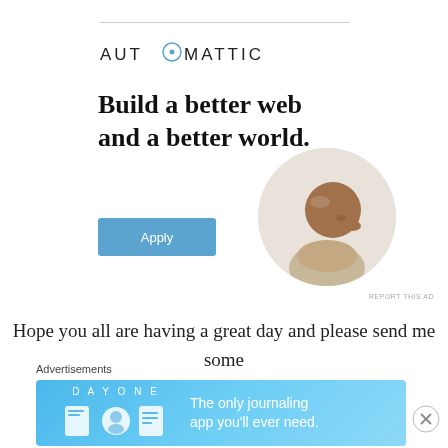[Figure (logo): Automattic logo with circular icon replacing the O in AUTOMATTIC]
[Figure (infographic): Automattic job ad: 'Build a better web and a better world.' with an Apply button and a circular photo of a man thinking at a desk]
Hope you all are having a great day and please send me some
love I would so appreciate it...
Advertisements
[Figure (infographic): Day One journaling app advertisement: 'The only journaling app you'll ever need.' on blue gradient background with app icons]